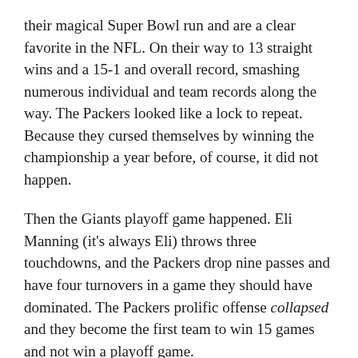their magical Super Bowl run and are a clear favorite in the NFL. On their way to 13 straight wins and a 15-1 and overall record, smashing numerous individual and team records along the way. The Packers looked like a lock to repeat. Because they cursed themselves by winning the championship a year before, of course, it did not happen.
Then the Giants playoff game happened. Eli Manning (it’s always Eli) throws three touchdowns, and the Packers drop nine passes and have four turnovers in a game they should have dominated. The Packers prolific offense collapsed and they become the first team to win 15 games and not win a playoff game.
Rodgers, of course, had one of the best seasons a quarterback has ever had and won the MVP. Typical Wisconsin luck.